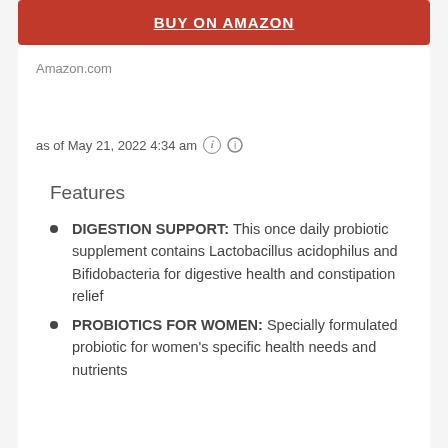[Figure (other): Red button labeled BUY ON AMAZON with underlined white bold text]
Amazon.com
as of May 21, 2022 4:34 am ⓘ
Features
DIGESTION SUPPORT: This once daily probiotic supplement contains Lactobacillus acidophilus and Bifidobacteria for digestive health and constipation relief
PROBIOTICS FOR WOMEN: Specially formulated probiotic for women's specific health needs and nutrients